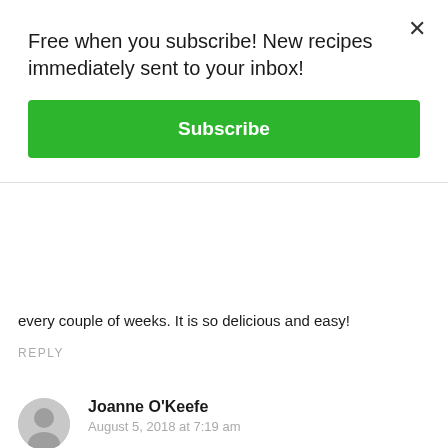Free when you subscribe! New recipes immediately sent to your inbox!
Subscribe
every couple of weeks. It is so delicious and easy!
REPLY
Joanne O'Keefe
August 5, 2018 at 7:19 am
Just subscribed to your youtube chanel. Thank you 🙂
REPLY